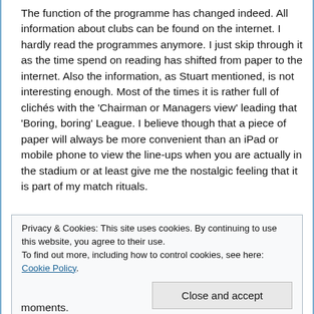The function of the programme has changed indeed. All information about clubs can be found on the internet. I hardly read the programmes anymore. I just skip through it as the time spend on reading has shifted from paper to the internet. Also the information, as Stuart mentioned, is not interesting enough. Most of the times it is rather full of clichés with the 'Chairman or Managers view' leading that 'Boring, boring' League. I believe though that a piece of paper will always be more convenient than an iPad or mobile phone to view the line-ups when you are actually in the stadium or at least give me the nostalgic feeling that it is part of my match rituals.
Privacy & Cookies: This site uses cookies. By continuing to use this website, you agree to their use.
To find out more, including how to control cookies, see here: Cookie Policy
Close and accept
moments.